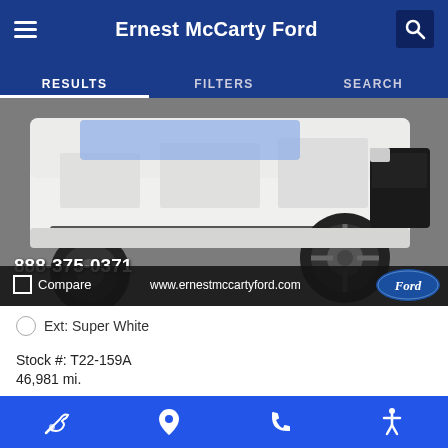Ernest McCarty Ford
RESULTS  FILTERS  SEARCH
[Figure (photo): Partial view of a white SUV/truck showing lower body, wheel, and running board on pavement. Phone number 888-375-0371 overlaid on image. Compare checkbox and www.ernestmccartyford.com with Ford logo at bottom of image.]
Ext: Super White
Stock #: T22-159A
46,981 mi.
Internet Price   $40,990